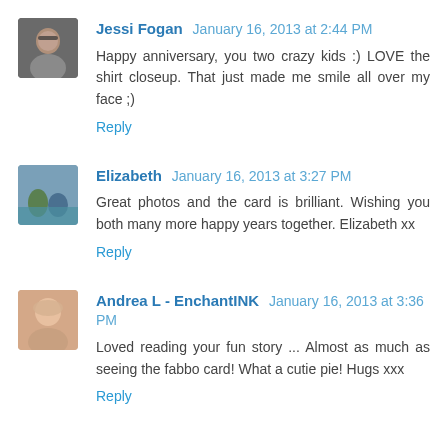Jessi Fogan  January 16, 2013 at 2:44 PM
Happy anniversary, you two crazy kids :) LOVE the shirt closeup. That just made me smile all over my face ;)
Reply
Elizabeth  January 16, 2013 at 3:27 PM
Great photos and the card is brilliant. Wishing you both many more happy years together. Elizabeth xx
Reply
Andrea L - EnchantINK  January 16, 2013 at 3:36 PM
Loved reading your fun story ... Almost as much as seeing the fabbo card! What a cutie pie! Hugs xxx
Reply